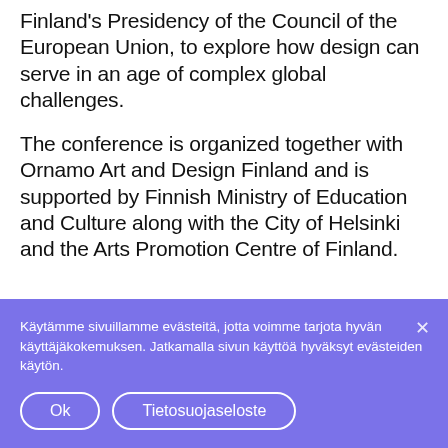Finland's Presidency of the Council of the European Union, to explore how design can serve in an age of complex global challenges.
The conference is organized together with Ornamo Art and Design Finland and is supported by Finnish Ministry of Education and Culture along with the City of Helsinki and the Arts Promotion Centre of Finland.
Käytämme sivuillamme evästeitä, jotta voimme tarjota hyvän käyttäjäkokemuksen. Jatkamalla sivun käyttöä hyväksyt evästeiden käytön.
Ok
Tietosuojaseloste